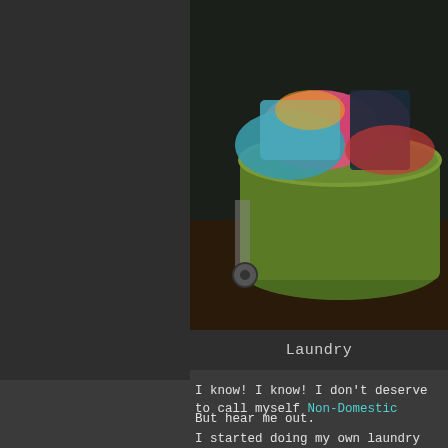[Figure (photo): A laundry basket overflowing with colorful clothes, including pink, teal, and other garments, placed near what appears to be a washing machine.]
Laundry
I know!  I know!  I don't deserve to call myself Non-Domestic
But hear me out.
I started doing my own laundry when I was about ten years o... encouraged to.  I'm sure my mom made the casual comment, "W... response to some complaint of mine that this shirt wasn't cle... actually expected me to take her seriously.  But I did.
And so it began.
I soon discovered the joy of laundry.
Maybe it's a bit strange but I used to love standing in the laun... the washing machine.  It was always so soothing.  It was quiet... In the spring birds would lay eggs in the laundry room ven...